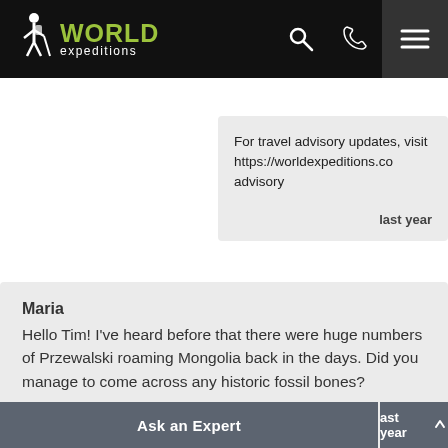World Expeditions
For travel advisory updates, visit https://worldexpeditions.co advisory
last year
Maria
Hello Tim! I've heard before that there were huge numbers of Przewalski roaming Mongolia back in the days. Did you manage to come across any historic fossil bones?
last year
Ask an Expert